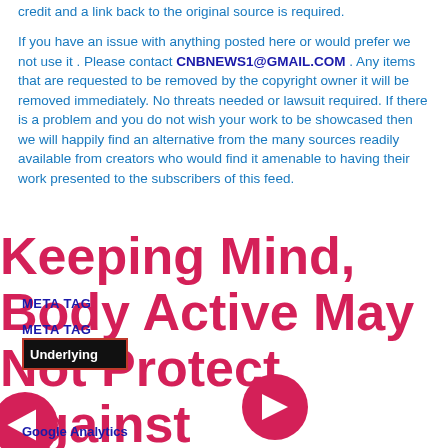credit and a link back to the original source is required.
If you have an issue with anything posted here or would prefer we not use it . Please contact CNBNEWS1@GMAIL.COM . Any items that are requested to be removed by the copyright owner it will be removed immediately. No threats needed or lawsuit required. If there is a problem and you do not wish your work to be showcased then we will happily find an alternative from the many sources readily available from creators who would find it amenable to having their work presented to the subscribers of this feed.
Keeping Mind, Body Active May Not Protect Against Underlying Signs of Alzheimer's